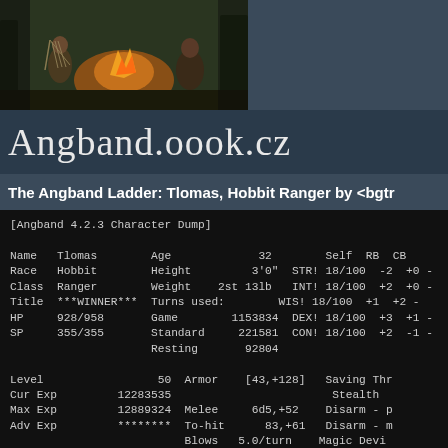[Figure (illustration): Fantasy illustration showing figures around a campfire in a forest, with warm orange and brown tones]
Angband.oook.cz
The Angband Ladder: Tlomas, Hobbit Ranger by <bgtr
[Angband 4.2.3 Character Dump]

Name   Tlomas        Age             32            Self  RB  CB
Race   Hobbit        Height          3'0"   STR! 18/100  -2  +0
Class  Ranger        Weight    2st 13lb   INT! 18/100  +2  +0
Title  ***WINNER***  Turns used:        WIS! 18/100  +1  +2
HP     928/958       Game        1153834   DEX! 18/100  +3  +1
SP     355/355       Standard     221581   CON! 18/100  +2  -1
                     Resting       92804

Level                 50   Armor     [43,+128]   Saving Thr
Cur Exp         12283535                         Stealth
Max Exp         12889324   Melee      6d5,+52    Disarm - p
Adv Exp         ********   To-hit       83,+61   Disarm - m
                           Blows    5.0/turn    Magic Devi
Gold              833461                         Searching
Burden          363.7 lb   Shoot to-dam    +27   Infravisio
Overweight      183.8 lb   To-hit      105,+64   Speed
Max Depth  5000' (L100)   Shots      2.6/turn

You are one of several children of a Hobbit Tavern Owner.  Yo
well liked child.  You have brown eyes, straight brown hair,
dark complexion.